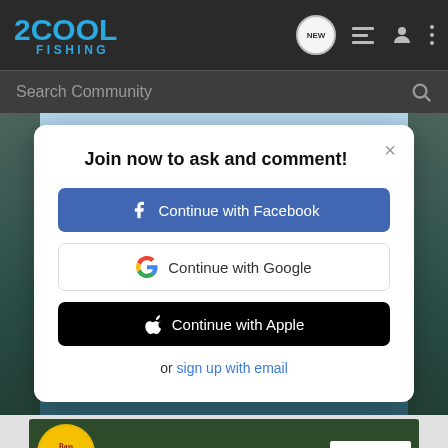2COOL FISHING
Search Community
[Figure (screenshot): Background fishing scene with sky and water]
Join now to ask and comment!
Continue with Facebook
Continue with Google
Continue with Apple
or sign up with email
[Figure (infographic): Bass Pro Shops advertisement banner: RELOADING SUPPLIES - SHOP NOW]